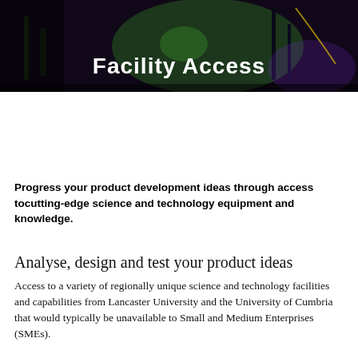[Figure (photo): Dark laboratory background image with green laser light and purple light, used as hero banner. Title 'Facility Access' overlaid in white bold text.]
Facility Access
Progress your product development ideas through access tocutting-edge science and technology equipment and knowledge.
Analyse, design and test your product ideas
Access to a variety of regionally unique science and technology facilities and capabilities from Lancaster University and the University of Cumbria that would typically be unavailable to Small and Medium Enterprises (SMEs).